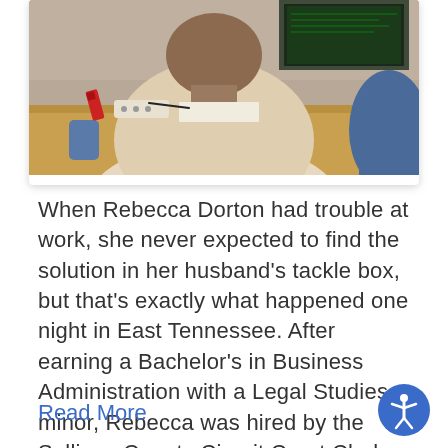[Figure (photo): Person sitting at a desk with computer monitors, viewed from behind/side, wearing a cream/beige sweater, with a blue office chair, wooden desk, and office supplies visible.]
When Rebecca Dorton had trouble at work, she never expected to find the solution in her husband’s tackle box, but that’s exactly what happened one night in East Tennessee. After earning a Bachelor’s in Business Administration with a Legal Studies minor, Rebecca was hired by the Sullivan County Circuit Court Clerks in East Tennessee. Familiar…
Read More